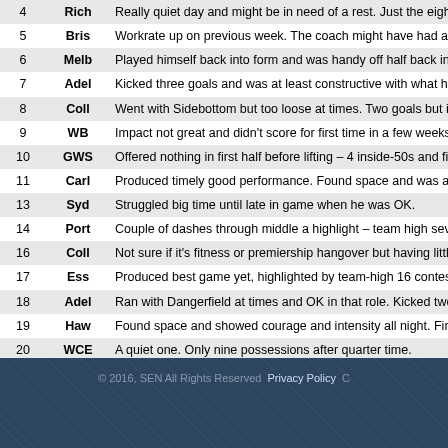| # | Team | Comment |
| --- | --- | --- |
| 4 | Rich | Really quiet day and might be in need of a rest. Just the eight… |
| 5 | Bris | Workrate up on previous week. The coach might have had a w… |
| 6 | Melb | Played himself back into form and was handy off half back in s… |
| 7 | Adel | Kicked three goals and was at least constructive with what he… |
| 8 | Coll | Went with Sidebottom but too loose at times. Two goals but im… |
| 9 | WB | Impact not great and didn't score for first time in a few weeks. |
| 10 | GWS | Offered nothing in first half before lifting – 4 inside-50s and five… |
| 11 | Carl | Produced timely good performance. Found space and was a g… |
| 13 | Syd | Struggled big time until late in game when he was OK. |
| 14 | Port | Couple of dashes through middle a highlight – team high seve… |
| 16 | Coll | Not sure if it's fitness or premiership hangover but having little… |
| 17 | Ess | Produced best game yet, highlighted by team-high 16 conteste… |
| 18 | Adel | Ran with Dangerfield at times and OK in that role. Kicked two… |
| 19 | Haw | Found space and showed courage and intensity all night. Fine… |
| 20 | WCE | A quiet one. Only nine possessions after quarter time. |
| 21 | StK | Found space, ran hard and created play all night to be among… |
| 22 | WB | Found space again and was dangerous all day forward of cen… |
| 23 | Syd | Played a role forward of centre with seven inside-50s and a go… |
| EF | Frem | Efficiency well down for class player. One goal and four inside… |
© 2016, SEN All Rights Reserved  Privacy Policy  C…